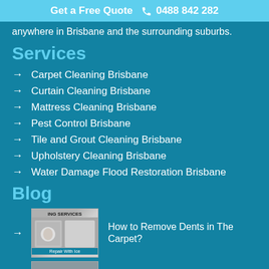Get a Free Quote  📞 0488 842 282
anywhere in Brisbane and the surrounding suburbs.
Services
Carpet Cleaning Brisbane
Curtain Cleaning Brisbane
Mattress Cleaning Brisbane
Pest Control Brisbane
Tile and Grout Cleaning Brisbane
Upholstery Cleaning Brisbane
Water Damage Flood Restoration Brisbane
Blog
How to Remove Dents in The Carpet?